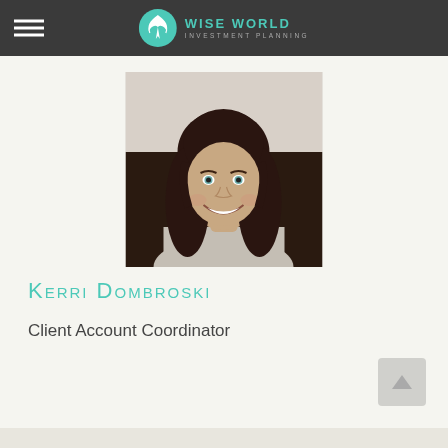Wise World Investment Planning
[Figure (photo): Portrait photo of Kerri Dombroski, a woman with long dark brown wavy hair, smiling, seated in a dark leather chair wearing a light grey knit sweater]
Kerri Dombroski
Client Account Coordinator